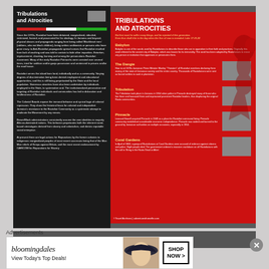[Figure (photo): Museum/exhibition display showing two panels titled 'Tribulations and Atrocities' — a dark left panel with text and a red right panel with sections including Babylon, The Dangie, Tribulation, Pinnacle, Coral Gardens, with a lion silhouette on the red panel. Watermark: ©Travel Archives | adventuresfromelle.com]
Advertisements
[Figure (photo): Bloomingdales advertisement banner: 'bloomingdales View Today's Top Deals!' with a woman in a wide-brim hat, and a SHOP NOW > button]